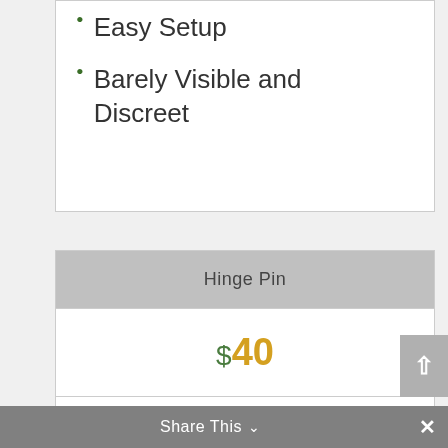Easy Setup
Barely Visible and Discreet
Hinge Pin
$40
Remote Smartphone Monitoring
Share This ∨  ×